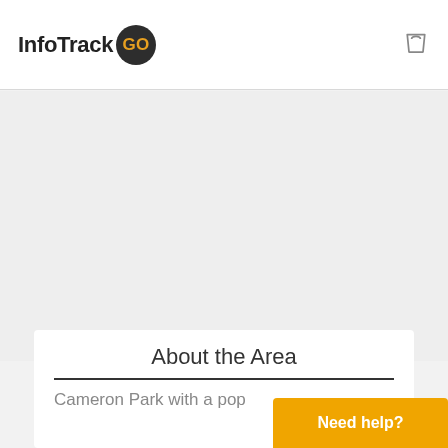InfoTrack GO
[Figure (logo): InfoTrack GO logo with dark circle containing orange GO text, and a shopping bag icon on the right]
[Figure (other): Gray placeholder area (map or image area)]
About the Area
Cameron Park with a pop
Need help?